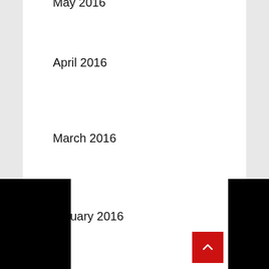May 2016
April 2016
March 2016
February 2016
January 2016
December 2015
October 2015
September 2015
August 2015